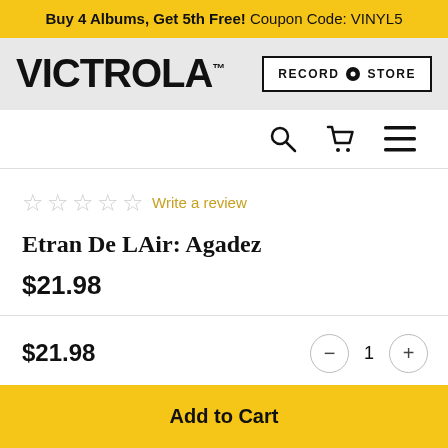Buy 4 Albums, Get 5th Free! Coupon Code: VINYL5
[Figure (logo): Victrola logo in bold black uppercase letters on grey background, with Record Store button on right]
[Figure (infographic): Navigation icons: search magnifier, shopping cart, hamburger menu]
☆☆☆☆☆ Write a review
Etran De LAir: Agadez
$21.98
$21.98
1
Add to Cart